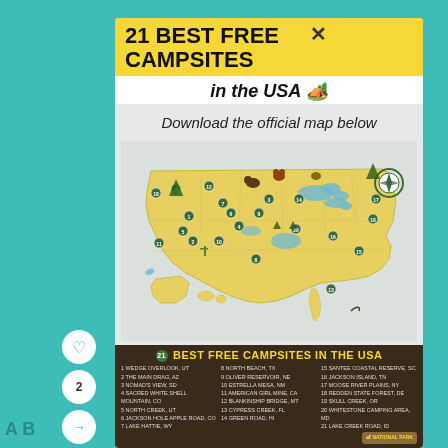dry
out
21 BEST FREE CAMPSITES
in the USA 🏕️
Download the official map below
[Figure (map): Illustrated map of the USA showing 21 numbered best free campsites locations across the country with illustrated icons of nature, wildlife, and camping scenes. Yellow background representing land, with state borders shown. A compass rose in the upper right area.]
21 BEST FREE CAMPSITES IN THE USA
1 WEDGE OVERLOOK, UT
2 THE MAIN DRAG, AZ
3 NOMAD'S VIEW, SD
4 SACRED WHITE SHELL MOUNTAIN, CO
5 NORTH CREEK, UT
6 JACKSON HOLE APPLE ROAD, CO
7 LAKE HATTIE, WY
8 NORTH BEACH, TX
9 OLIVER RESERVOIR, NE
10 ESTRELLA MESA, NM
11 AMERICAN GIRL MINE, CA
12 BLANKINSHIP BRIDGE, MT
13 CYPRESS CREEK, FL
14 GREEN ROAD, HI
15 SANTEE COASTAL RESERVE, SC
16 JACKSON ISLAND, TN
17 MOOSE RIVER PLAINS, NY
18 REDDEN STATE FOREST, DE
19 SKULL CREEK, OR
20 WHITESTONE CAMPING AREA, MD
21 LAKE CREEK ROAD, ID